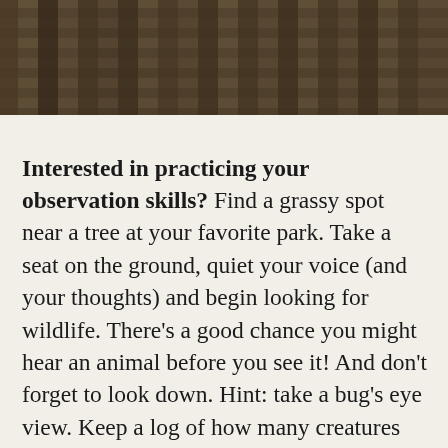[Figure (photo): Dark wooden fence or gate structure photographed from below, showing weathered wood slats and bars in dark brown and grey tones.]
Interested in practicing your observation skills? Find a grassy spot near a tree at your favorite park. Take a seat on the ground, quiet your voice (and your thoughts) and begin looking for wildlife. There’s a good chance you might hear an animal before you see it! And don’t forget to look down. Hint: take a bug’s eye view. Keep a log of how many creatures you see in 15 minutes. The more you practice this kind of looking, the more wildlife you’ll notice throughout your city!